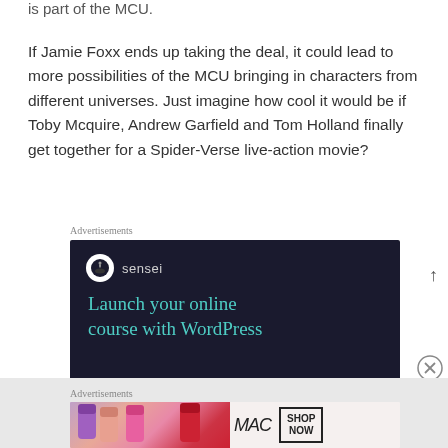is part of the MCU.
If Jamie Foxx ends up taking the deal, it could lead to more possibilities of the MCU bringing in characters from different universes. Just imagine how cool it would be if Toby Mcquire, Andrew Garfield and Tom Holland finally get together for a Spider-Verse live-action movie?
Advertisements
[Figure (screenshot): Sensei advertisement: dark navy background with Sensei logo (white circle with tree icon) and tagline 'Launch your online course with WordPress' in teal text]
Advertisements
[Figure (screenshot): MAC Cosmetics advertisement showing colorful lipsticks and MAC logo with 'SHOP NOW' button]